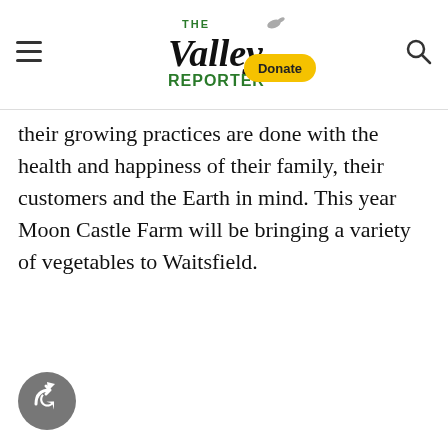The Valley Reporter — navigation header with hamburger menu, logo, donate button, and search icon
their growing practices are done with the health and happiness of their family, their customers and the Earth in mind. This year Moon Castle Farm will be bringing a variety of vegetables to Waitsfield.